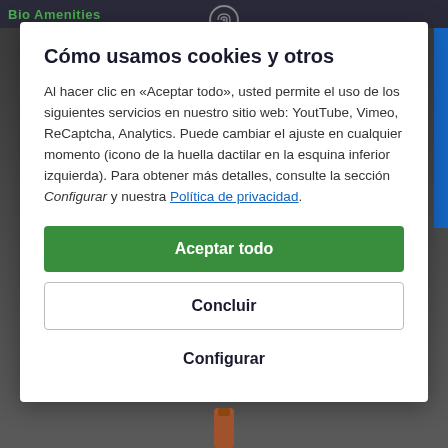Cómo usamos cookies y otros
Al hacer clic en «Aceptar todo», usted permite el uso de los siguientes servicios en nuestro sitio web: YoutTube, Vimeo, ReCaptcha, Analytics. Puede cambiar el ajuste en cualquier momento (icono de la huella dactilar en la esquina inferior izquierda). Para obtener más detalles, consulte la sección Configurar y nuestra Política de privacidad.
Aceptar todo
Concluir
Configurar